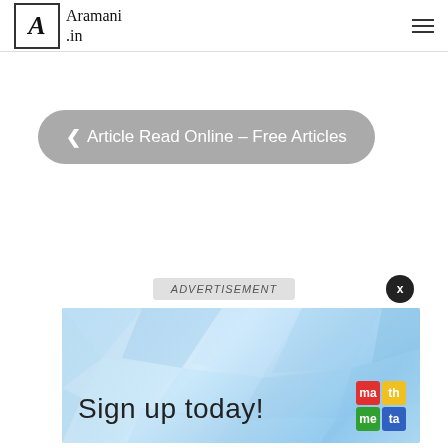Aramani .in
< Article Read Online – Free Articles
ADVERTISEMENT
[Figure (illustration): Advertisement banner for Mathway showing 'Sign up today!' text on a blue geometric polygon background with the Mathway logo (colored grid squares: red 'ma', yellow 'th', green 'me', blue 'ta') in the bottom right corner.]